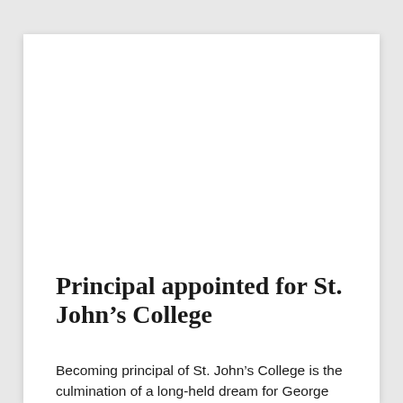Principal appointed for St. John's College
Becoming principal of St. John's College is the culmination of a long-held dream for George